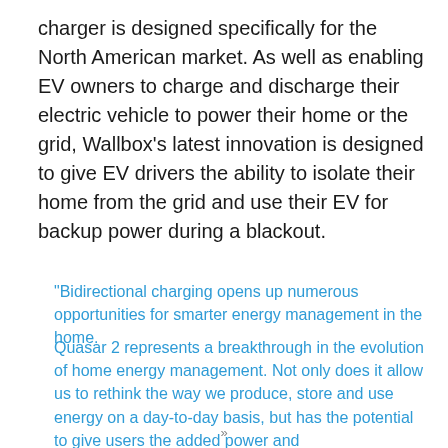charger is designed specifically for the North American market. As well as enabling EV owners to charge and discharge their electric vehicle to power their home or the grid, Wallbox's latest innovation is designed to give EV drivers the ability to isolate their home from the grid and use their EV for backup power during a blackout.
"Bidirectional charging opens up numerous opportunities for smarter energy management in the home.
Quasar 2 represents a breakthrough in the evolution of home energy management. Not only does it allow us to rethink the way we produce, store and use energy on a day-to-day basis, but has the potential to give users the added power and
»